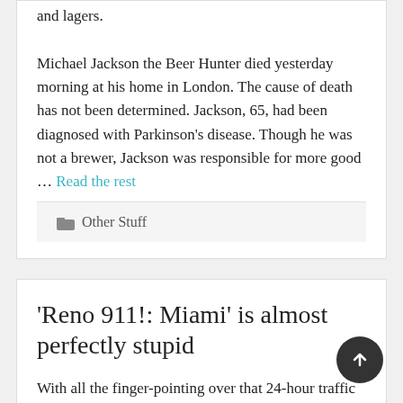and lagers. Michael Jackson the Beer Hunter died yesterday morning at his home in London. The cause of death has not been determined. Jackson, 65, had been diagnosed with Parkinson's disease. Though he was not a brewer, Jackson was responsible for more good … Read the rest
Other Stuff
'Reno 911!: Miami' is almost perfectly stupid
With all the finger-pointing over that 24-hour traffic debacle on I-78 last week, I wonder if anyone has bothered to look into the